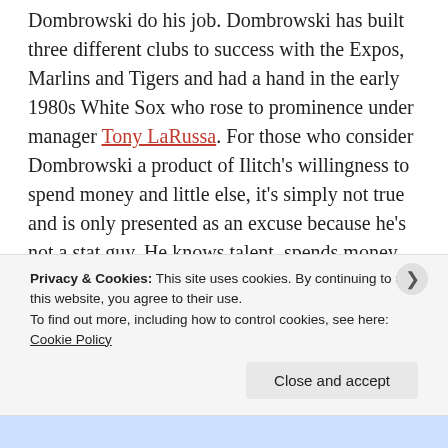Dombrowski do his job. Dombrowski has built three different clubs to success with the Expos, Marlins and Tigers and had a hand in the early 1980s White Sox who rose to prominence under manager Tony LaRussa. For those who consider Dombrowski a product of Ilitch's willingness to spend money and little else, it's simply not true and is only presented as an excuse because he's not a stat guy. He knows talent, spends money when necessary, but also has an old-school GM's aggressiveness going after what he wants when others wouldn't know what they're getting as evidenced by his under-the-radar trade for
Privacy & Cookies: This site uses cookies. By continuing to use this website, you agree to their use. To find out more, including how to control cookies, see here: Cookie Policy